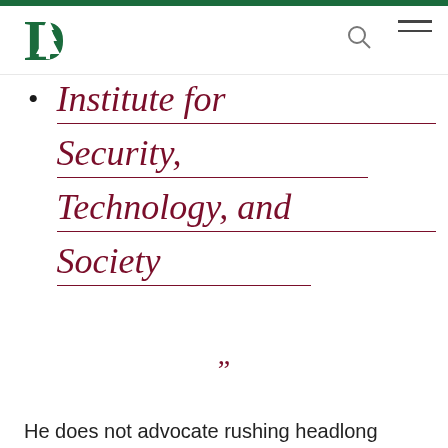[Figure (logo): Dartmouth College 'D' logo with pine tree in green, top-left header]
Institute for Security, Technology, and Society
”
He does not advocate rushing headlong